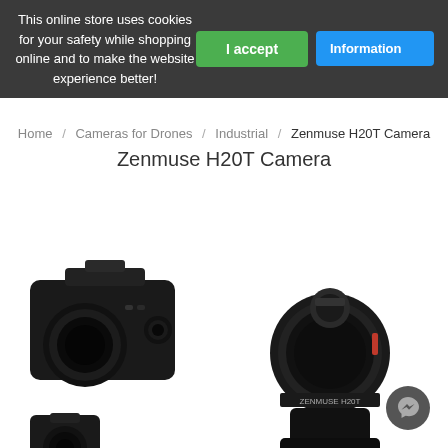This online store uses cookies for your safety while shopping online and to make the website experience better!
I accept
Information
Home / Cameras for Drones / Industrial / Zenmuse H20T Camera
Zenmuse H20T Camera
[Figure (photo): DJI Zenmuse H20T drone camera product images showing multiple angles of the camera unit]
[Figure (photo): Messenger chat button icon]